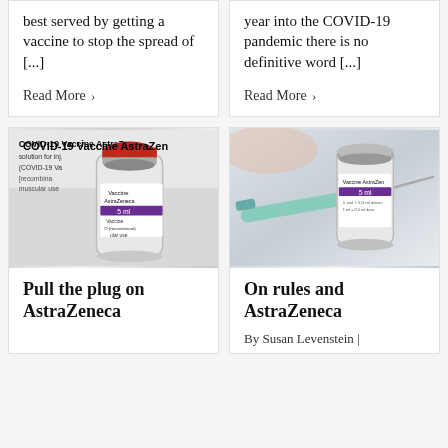best served by getting a vaccine to stop the spread of [...]
Read More ›
year into the COVID-19 pandemic there is no definitive word [...]
Read More ›
[Figure (photo): COVID-19 Vaccine AstraZeneca vial with red cap, label visible showing 5ml, close-up photograph]
Pull the plug on AstraZeneca
[Figure (photo): AstraZeneca vaccine vial with syringe/needle, 5ml label with purple stripe, close-up photograph]
On rules and AstraZeneca
By Susan Levenstein |